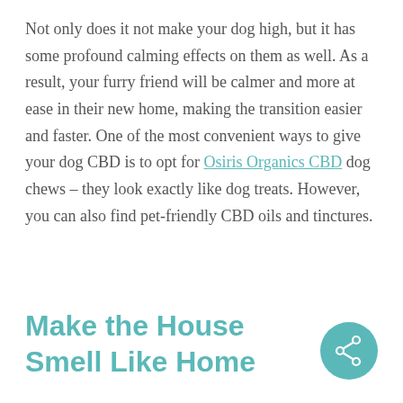Not only does it not make your dog high, but it has some profound calming effects on them as well. As a result, your furry friend will be calmer and more at ease in their new home, making the transition easier and faster. One of the most convenient ways to give your dog CBD is to opt for Osiris Organics CBD dog chews – they look exactly like dog treats. However, you can also find pet-friendly CBD oils and tinctures.
Make the House Smell Like Home